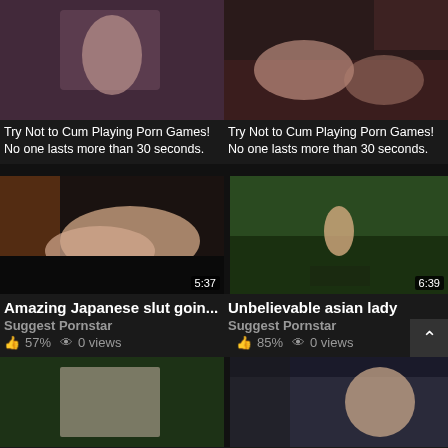[Figure (screenshot): Two video thumbnails side by side: left shows animated/3D adult content, right shows live action adult content]
Try Not to Cum Playing Porn Games! No one lasts more than 30 seconds.
Try Not to Cum Playing Porn Games! No one lasts more than 30 seconds.
[Figure (screenshot): Video thumbnail of Japanese adult content, duration 5:37]
[Figure (screenshot): Video thumbnail of asian lady outdoors, duration 6:39]
Amazing Japanese slut goin...
Unbelievable asian lady
Suggest Pornstar
Suggest Pornstar
57%  0 views
85%  0 views
[Figure (screenshot): Video thumbnail of cosplay character]
[Figure (screenshot): Video thumbnail of asian woman on bus/train]